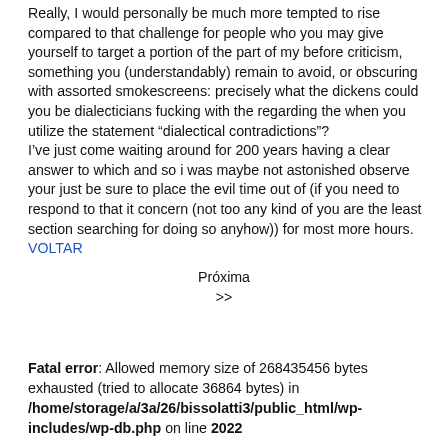Really, I would personally be much more tempted to rise compared to that challenge for people who you may give yourself to target a portion of the part of my before criticism, something you (understandably) remain to avoid, or obscuring with assorted smokescreens: precisely what the dickens could you be dialecticians fucking with the regarding the when you utilize the statement “dialectical contradictions”?
I’ve just come waiting around for 200 years having a clear answer to which and so i was maybe not astonished observe your just be sure to place the evil time out of (if you need to respond to that it concern (not too any kind of you are the least section searching for doing so anyhow)) for most more hours.
VOLTAR
Próxima
>>
Fatal error: Allowed memory size of 268435456 bytes exhausted (tried to allocate 36864 bytes) in /home/storage/a/3a/26/bissolatti3/public_html/wp-includes/wp-db.php on line 2022